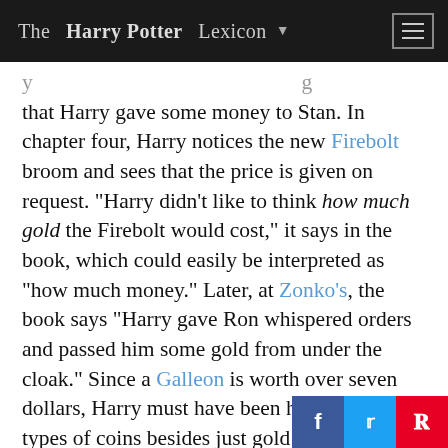The Harry Potter Lexicon
that Harry gave some money to Stan. In chapter four, Harry notices the new Firebolt broom and sees that the price is given on request. "Harry didn't like to think how much gold the Firebolt would cost," it says in the book, which could easily be interpreted as "how much money." Later, at Zonko's, the book says "Harry gave Ron whispered orders and passed him some gold from under the cloak." Since a Galleon is worth over seven dollars, Harry must have been handing other types of coins besides just gold ones. Even more to the point, when Harry tells Hagri